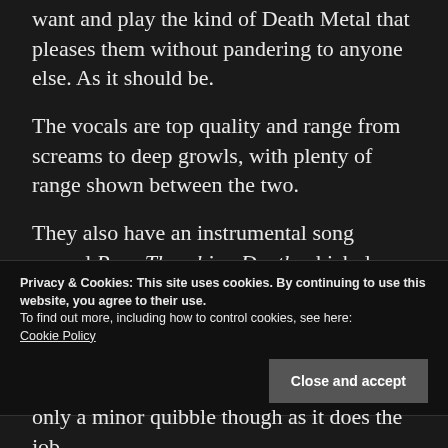want and play the kind of Death Metal that pleases them without pandering to anyone else. As it should be.
The vocals are top quality and range from screams to deep growls, with plenty of range shown between the two.
They also have an instrumental song named Prog Thrashing Death which does exactly what it says on the tin.
Privacy & Cookies: This site uses cookies. By continuing to use this website, you agree to their use.
To find out more, including how to control cookies, see here:
Cookie Policy
only a minor quibble though as it does the job